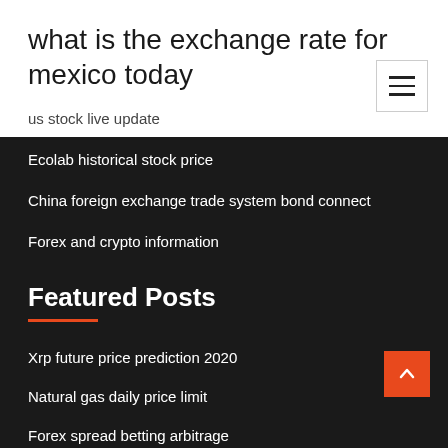what is the exchange rate for mexico today
us stock live update
Ecolab historical stock price
China foreign exchange trade system bond connect
Forex and crypto information
Featured Posts
Xrp future price prediction 2020
Natural gas daily price limit
Forex spread betting arbitrage